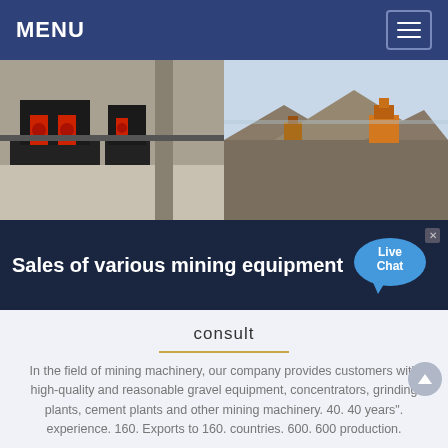MENU
[Figure (photo): Two side-by-side photos: left shows red and black mining crushing equipment in an industrial hall; right shows an outdoor mining/quarrying site with piles of gravel and orange machinery.]
Sales of various mining equipment
consult
In the field of mining machinery, our company provides customers with high-quality and reasonable gravel equipment, concentrators, grinding plants, cement plants and other mining machinery. 40. 40 years". experience. 160. Exports to 160. countries. 600. 600 production.